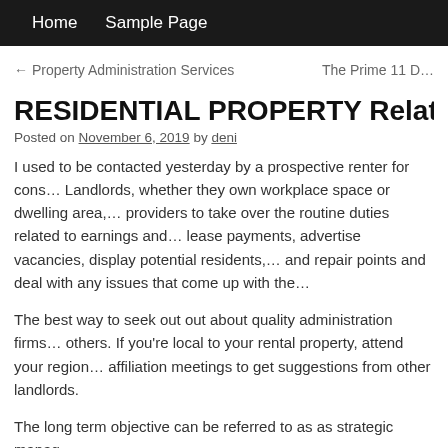Home   Sample Page
← Property Administration Services    The Prime 11 D…
RESIDENTIAL PROPERTY Related Article…
Posted on November 6, 2019 by deni
I used to be contacted yesterday by a prospective renter for cons… Landlords, whether they own workplace space or dwelling area,… providers to take over the routine duties related to earnings and… lease payments, advertise vacancies, display potential residents,… and repair points and deal with any issues that come up with the…
The best way to seek out out about quality administration firms… others. If you're local to your rental property, attend your region… affiliation meetings to get suggestions from other landlords.
The long term objective can be referred to as as strategic manag…